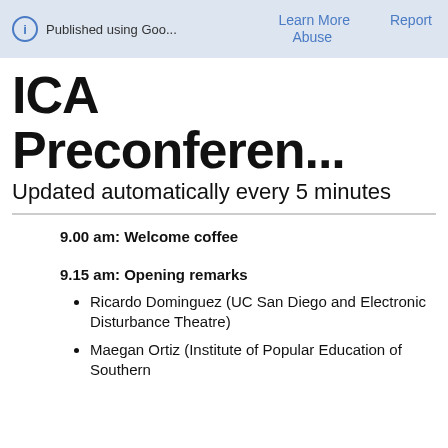Published using Goo...   Learn More   Report   Abuse
ICA Preconferen...
Updated automatically every 5 minutes
9.00 am: Welcome coffee
9.15 am: Opening remarks
Ricardo Dominguez (UC San Diego and Electronic Disturbance Theatre)
Maegan Ortiz (Institute of Popular Education of Southern Californ...)